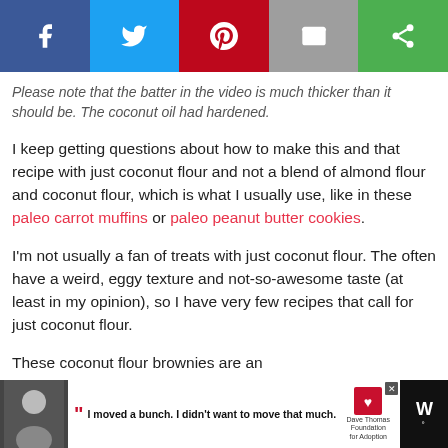[Figure (other): Social sharing bar with Facebook (blue), Twitter (light blue), Pinterest (red), Email (grey), and Share (green) buttons]
Please note that the batter in the video is much thicker than it should be. The coconut oil had hardened.
I keep getting questions about how to make this and that recipe with just coconut flour and not a blend of almond flour and coconut flour, which is what I usually use, like in these paleo carrot muffins or paleo peanut butter cookies.
I'm not usually a fan of treats with just coconut flour. The often have a weird, eggy texture and not-so-awesome taste (at least in my opinion), so I have very few recipes that call for just coconut flour.
These coconut flour brownies are an
[Figure (other): Advertisement banner for Dave Thomas Foundation for Adoption with quote: I moved a bunch. I didn't want to move that much.]